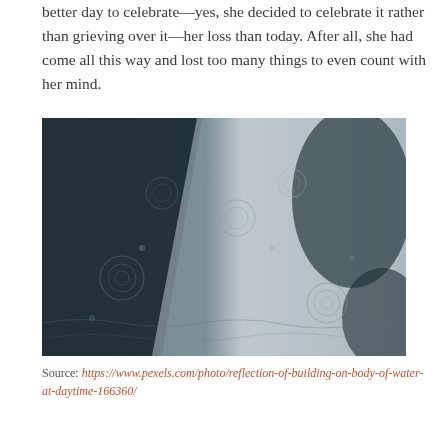better day to celebrate—yes, she decided to celebrate it rather than grieving over it—her loss than today. After all, she had come all this way and lost too many things to even count with her mind.
[Figure (photo): Rain drops on a wet surface with reflections of a building, showing dark and light areas in a moody, atmospheric photo.]
Source: https://www.pexels.com/photo/reflection-of-building-on-body-of-water-at-daytime-166360/